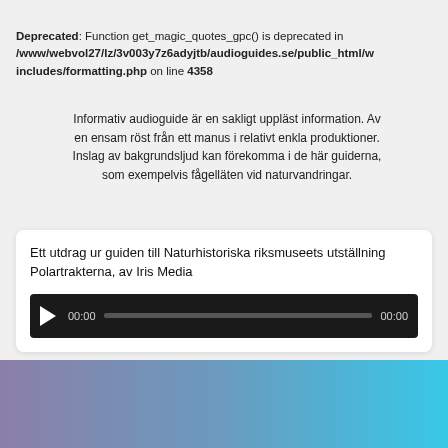Deprecated: Function get_magic_quotes_gpc() is deprecated in /www/webvol27/lz/3v003y7z6adyjtb/audioguides.se/public_html/w includes/formatting.php on line 4358
Informativ audioguide är en sakligt uppläst information. Av en ensam röst från ett manus i relativt enkla produktioner. Inslag av bakgrundsljud kan förekomma i de här guiderna, som exempelvis fågelläten vid naturvandringar.
[Figure (other): Audio player card with title 'Ett utdrag ur guiden till Naturhistoriska riksmuseets utställning Polartrakterna, av Iris Media' and a dark audio player bar showing play button, 00:00 timestamp, progress bar, and 00:00 end time]